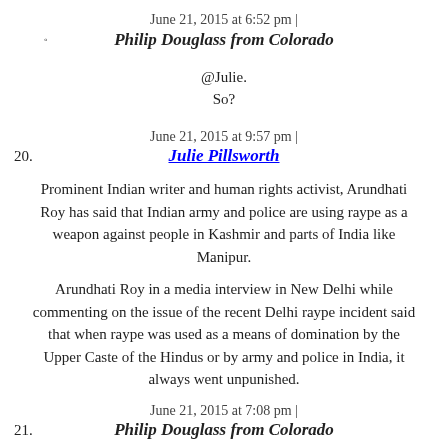June 21, 2015 at 6:52 pm | Philip Douglass from Colorado
@Julie.
So?
June 21, 2015 at 9:57 pm | Julie Pillsworth
Prominent Indian writer and human rights activist, Arundhati Roy has said that Indian army and police are using raype as a weapon against people in Kashmir and parts of India like Manipur.
Arundhati Roy in a media interview in New Delhi while commenting on the issue of the recent Delhi raype incident said that when raype was used as a means of domination by the Upper Caste of the Hindus or by army and police in India, it always went unpunished.
June 21, 2015 at 7:08 pm | Philip Douglass from Colorado
..listen to the r tard.
Blah blah blah.